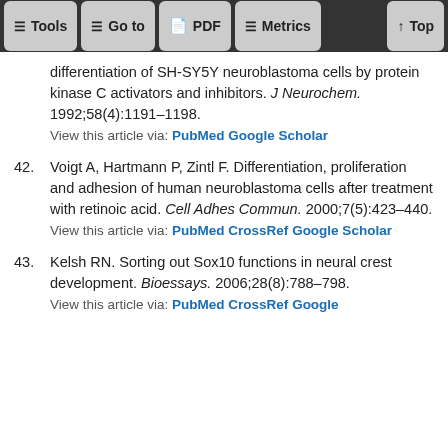Tools  Go to  PDF  Metrics  Top
differentiation of SH-SY5Y neuroblastoma cells by protein kinase C activators and inhibitors. J Neurochem. 1992;58(4):1191–1198.
View this article via: PubMed Google Scholar
42. Voigt A, Hartmann P, Zintl F. Differentiation, proliferation and adhesion of human neuroblastoma cells after treatment with retinoic acid. Cell Adhes Commun. 2000;7(5):423–440.
View this article via: PubMed CrossRef Google Scholar
43. Kelsh RN. Sorting out Sox10 functions in neural crest development. Bioessays. 2006;28(8):788–798.
View this article via: PubMed CrossRef Google